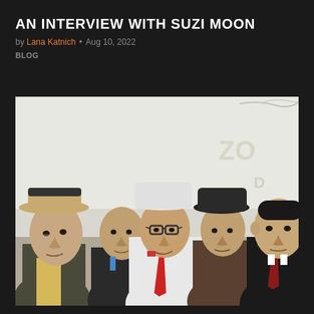AN INTERVIEW WITH SUZI MOON
by Lana Katnich • Aug 10, 2022
BLOG
[Figure (photo): Group photo of five men posed together outdoors against a white wall with graffiti. The man on the far left wears a tan and black fedora hat and a yellow shirt. Second from left is bald in a dark suit. Center man wears a white suit with a red tie and white hat with glasses. Fourth man wears a dark hat and brown jacket. Far right man wears a dark suit with a red tie.]